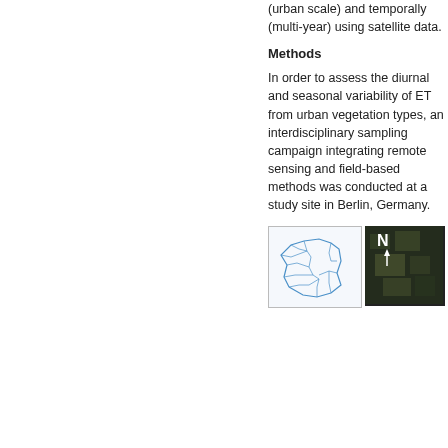(urban scale) and temporally (multi-year) using satellite data.
Methods
In order to assess the diurnal and seasonal variability of ET from urban vegetation types, an interdisciplinary sampling campaign integrating remote sensing and field-based methods was conducted at a study site in Berlin, Germany.
[Figure (map): Map of Berlin showing district boundaries in blue outline style, and a satellite image with a north arrow indicator.]